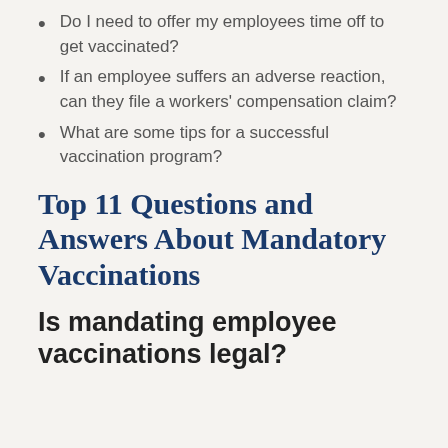Do I need to offer my employees time off to get vaccinated?
If an employee suffers an adverse reaction, can they file a workers' compensation claim?
What are some tips for a successful vaccination program?
Top 11 Questions and Answers About Mandatory Vaccinations
Is mandating employee vaccinations legal?